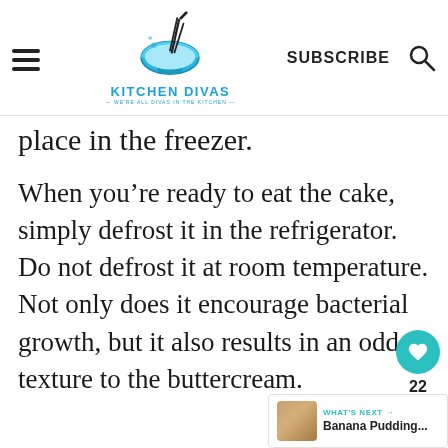Kitchen Divas — We're all divas in the kitchen — SUBSCRIBE
place in the freezer.
When you're ready to eat the cake, simply defrost it in the refrigerator. Do not defrost it at room temperature. Not only does it encourage bacterial growth, but it also results in an odd texture to the buttercream.